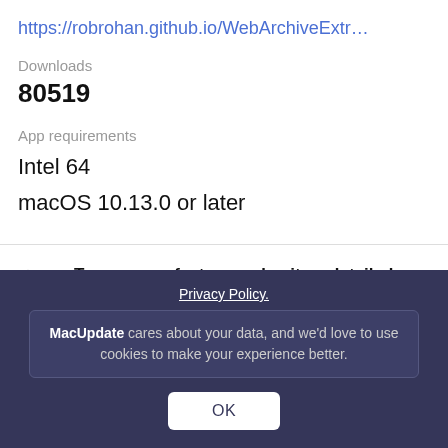https://robrohan.github.io/WebArchiveExtr…
Downloads
80519
App requirements
Intel 64
macOS 10.13.0 or later
Try our new feature and write a detailed review about WebArchive Extractor. All reviews will be posted soon.
Privacy Policy.
MacUpdate cares about your data, and we'd love to use cookies to make your experience better.
OK